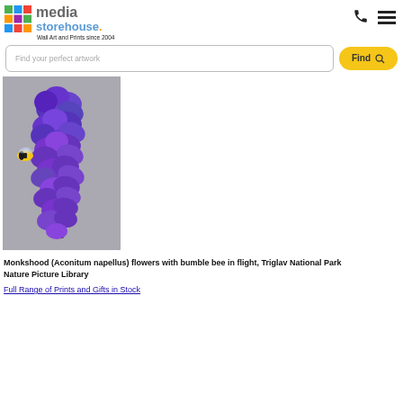media storehouse. Wall Art and Prints since 2004
[Figure (other): Media Storehouse logo with colorful grid icon, media text in gray, storehouse text in blue]
Find your perfect artwork
Find
[Figure (photo): Close-up photo of Monkshood (Aconitum napellus) purple flowers on a stem with a bumble bee in flight to the left, against a gray background. Triglav National Park.]
Monkshood (Aconitum napellus) flowers with bumble bee in flight, Triglav National Park
Nature Picture Library
Full Range of Prints and Gifts in Stock